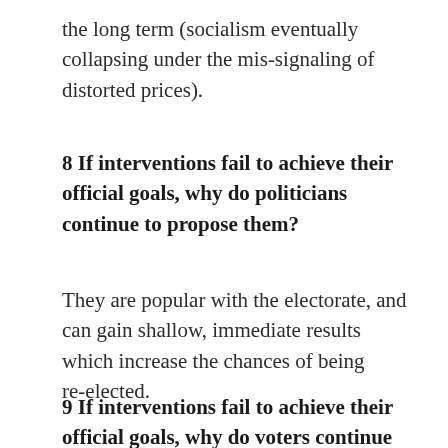the long term (socialism eventually collapsing under the mis-signaling of distorted prices).
8 If interventions fail to achieve their official goals, why do politicians continue to propose them?
They are popular with the electorate, and can gain shallow, immediate results which increase the chances of being re-elected.
9 If interventions fail to achieve their official goals, why do voters continue